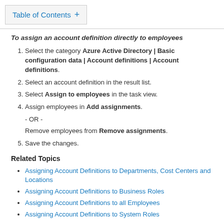Table of Contents +
To assign an account definition directly to employees
1. Select the category Azure Active Directory | Basic configuration data | Account definitions | Account definitions.
2. Select an account definition in the result list.
3. Select Assign to employees in the task view.
4. Assign employees in Add assignments.
- OR -
Remove employees from Remove assignments.
5. Save the changes.
Related Topics
Assigning Account Definitions to Departments, Cost Centers and Locations
Assigning Account Definitions to Business Roles
Assigning Account Definitions to all Employees
Assigning Account Definitions to System Roles
Adding Account Definitions in the IT Shop